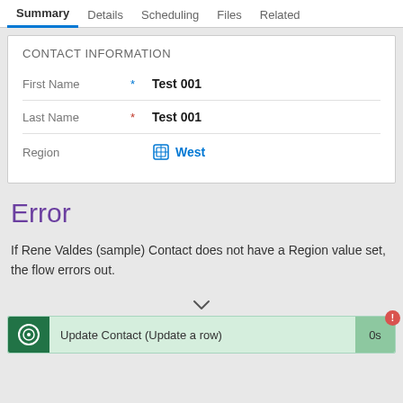Summary | Details | Scheduling | Files | Related
CONTACT INFORMATION
| Field | Required | Value |
| --- | --- | --- |
| First Name | * | Test 001 |
| Last Name | * | Test 001 |
| Region |  | West |
Error
If Rene Valdes (sample) Contact does not have a Region value set, the flow errors out.
[Figure (screenshot): Update Contact (Update a row) flow action bar with green icon, 0s timer, and red error badge in top right corner]